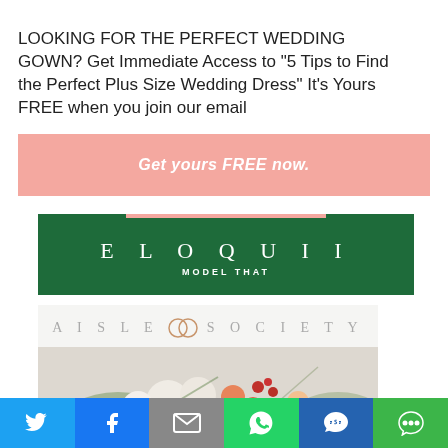LOOKING FOR THE PERFECT WEDDING GOWN? Get Immediate Access to "5 Tips to Find the Perfect Plus Size Wedding Dress" It's Yours FREE when you join our email
Get yours FREE now.
[Figure (logo): ELOQUII MODEL THAT logo on dark green background with pink accent bar]
[Figure (logo): Aisle Society logo with interlocking rings, above floral arrangement photo]
[Figure (infographic): Social share bar with Twitter, Facebook, Email, WhatsApp, SMS, and More buttons]